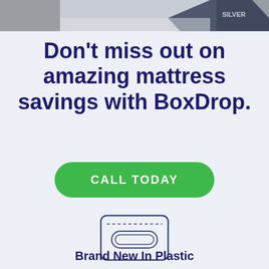[Figure (photo): Partial photo of a mattress or product at the top of the page]
Don't miss out on amazing mattress savings with BoxDrop.
CALL TODAY
[Figure (illustration): Icon of a mattress inside a plastic bag/wrapper]
Brand New In Plastic